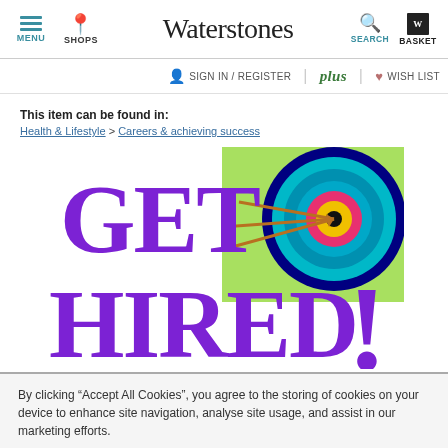Waterstones — MENU | SHOPS | SEARCH | BASKET
SIGN IN / REGISTER | plus | WISH LIST
This item can be found in: Health & Lifestyle > Careers & achieving success
[Figure (illustration): Book cover for 'GET HIRED!' showing large purple bold text 'GET HIRED!' with an archery target with arrows on the right side]
By clicking “Accept All Cookies”, you agree to the storing of cookies on your device to enhance site navigation, analyse site usage, and assist in our marketing efforts.